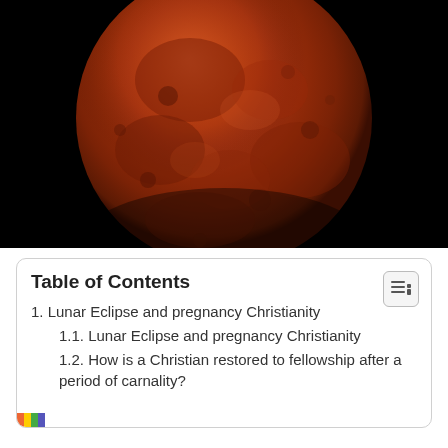[Figure (photo): A blood moon / total lunar eclipse photographed against a black sky. The moon appears large and reddish-orange with visible surface texture and craters.]
Table of Contents
1. Lunar Eclipse and pregnancy Christianity
1.1. Lunar Eclipse and pregnancy Christianity
1.2. How is a Christian restored to fellowship after a period of carnality?